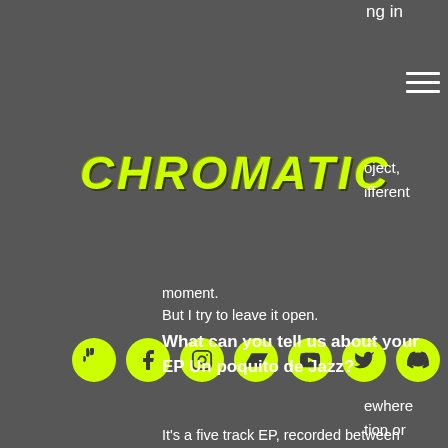[Figure (logo): CHROMATIC logo in yellow-green italic bold text on dark grey background]
[Figure (infographic): Row of 7 circular social media icons in yellow-green on dark grey: SoundCloud, Facebook, Instagram, Bandcamp, YouTube, Twitter, and another platform]
ng in
oject,
different
ewhere
tion or
good
moment.
But I try to leave it open.
What can you tell us about your EP Un poquito de Jazz?
It's a five track EP, recorded between 2018 and 2019, released on Mustique, a label from Cologne Germany.